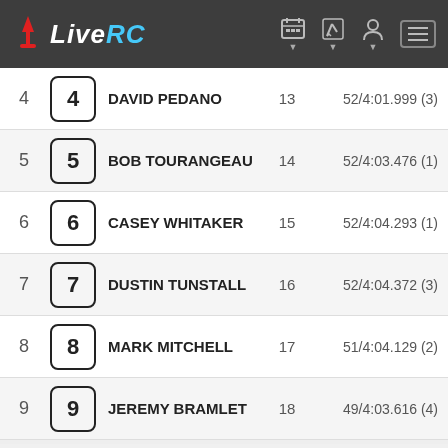LiveRC
| Pos | Car # | Driver | Seed # | Seed Result |
| --- | --- | --- | --- | --- |
| 4 | 4 | DAVID PEDANO | 13 | 52/4:01.999 (3) |
| 5 | 5 | BOB TOURANGEAU | 14 | 52/4:03.476 (1) |
| 6 | 6 | CASEY WHITAKER | 15 | 52/4:04.293 (1) |
| 7 | 7 | DUSTIN TUNSTALL | 16 | 52/4:04.372 (3) |
| 8 | 8 | MARK MITCHELL | 17 | 51/4:04.129 (2) |
| 9 | 9 | JEREMY BRAMLET | 18 | 49/4:03.616 (4) |
10  17.5 Stock B-Main  Length: 4:00 Timed  Status: Complete (View Results)
| Pos | Car # / Driver | Seed # | Seed Result |
| --- | --- | --- | --- |